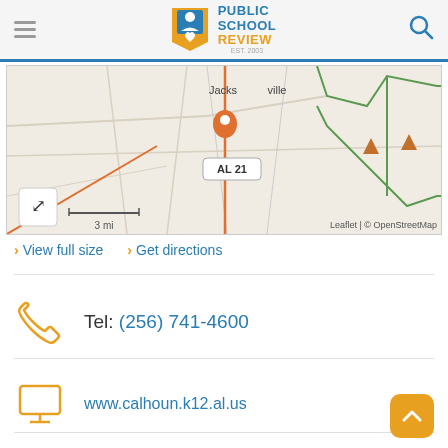[Figure (logo): Public School Review logo with navigation hamburger menu and search icon]
[Figure (map): Street map showing Jacksonville area with AL 21 highway marker, orange location pin, scale bar showing 3 mi, green boundary lines, and Leaflet/OpenStreetMap attribution]
> View full size   > Get directions
Tel: (256) 741-4600
www.calhoun.k12.al.us